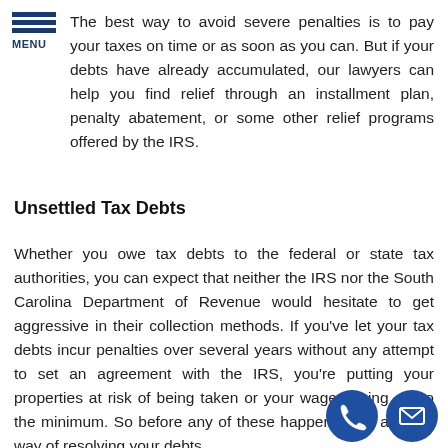MENU
The best way to avoid severe penalties is to pay your taxes on time or as soon as you can. But if your debts have already accumulated, our lawyers can help you find relief through an installment plan, penalty abatement, or some other relief programs offered by the IRS.
Unsettled Tax Debts
Whether you owe tax debts to the federal or state tax authorities, you can expect that neither the IRS nor the South Carolina Department of Revenue would hesitate to get aggressive in their collection methods. If you've let your tax debts incur penalties over several years without any attempt to set an agreement with the IRS, you're putting your properties at risk of being taken or your wages being cut to the minimum. So before any of these happen, seek a better way of resolving your debts.